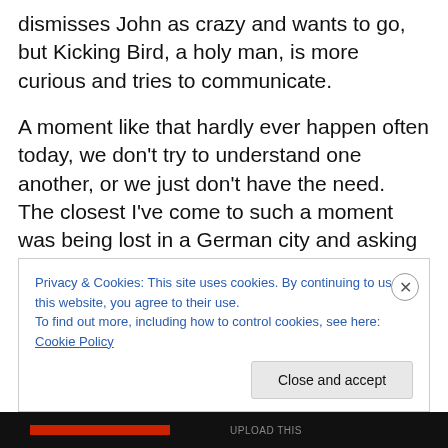dismisses John as crazy and wants to go, but Kicking Bird, a holy man, is more curious and tries to communicate.
A moment like that hardly ever happen often today, we don't try to understand one another, or we just don't have the need.  The closest I've come to such a moment was being lost in a German city and asking an old man on a bench for directions.  I didn't speak German and he didn't speak English, but we both knew just enough Spanish to help me find my way.  Today, I would just pull up the GPS on my phone and deny myself a meaningful human
Privacy & Cookies: This site uses cookies. By continuing to use this website, you agree to their use.
To find out more, including how to control cookies, see here: Cookie Policy
Close and accept